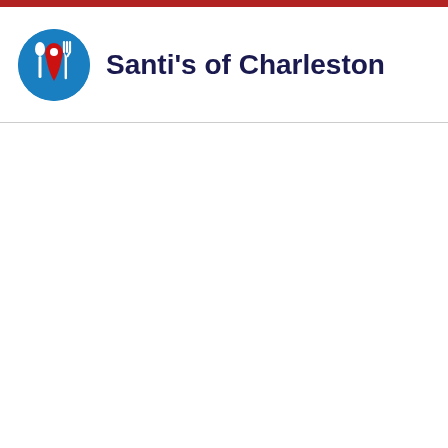[Figure (logo): Santi's of Charleston logo: blue circle with white spoon, red map pin, and white fork icons]
Santi's of Charleston